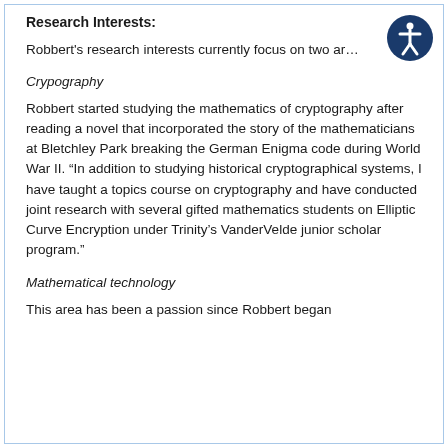Research Interests:
Robbert's research interests currently focus on two ar…
Crypography
Robbert started studying the mathematics of cryptography after reading a novel that incorporated the story of the mathematicians at Bletchley Park breaking the German Enigma code during World War II. “In addition to studying historical cryptographical systems, I have taught a topics course on cryptography and have conducted joint research with several gifted mathematics students on Elliptic Curve Encryption under Trinity’s VanderVelde junior scholar program.”
Mathematical technology
This area has been a passion since Robbert began